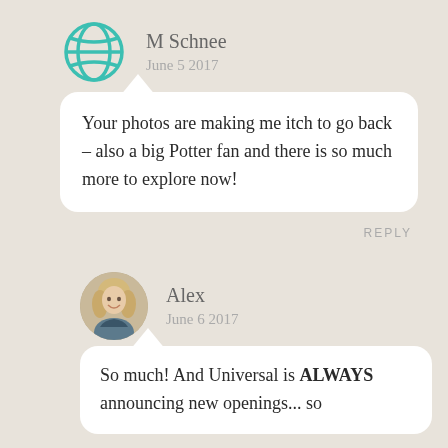[Figure (illustration): Globe/world icon avatar in teal outline style]
M Schnee
June 5 2017
Your photos are making me itch to go back – also a big Potter fan and there is so much more to explore now!
REPLY
[Figure (photo): Circular profile photo of a blonde woman smiling]
Alex
June 6 2017
So much! And Universal is ALWAYS announcing new openings... so